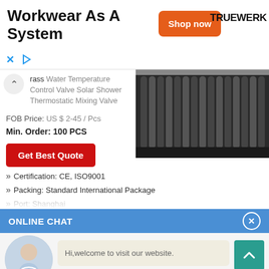[Figure (screenshot): Advertisement banner for Truewerk workwear with orange 'Shop now' button and bold brand name]
Workwear As A System
[Figure (photo): Solar collector panel/tubes product image]
rass Water Temperature Control Valve Solar Shower Thermostatic Mixing Valve
FOB Price: US $ 2-45 / Pcs
Min. Order: 100 PCS
Get Best Quote
Certification: CE, ISO9001
Packing: Standard International Package
Port: Shanghai
ONLINE CHAT
[Figure (photo): Chat agent avatar photo of a woman named Cilina]
Hi,welcome to visit our website.
Cilina